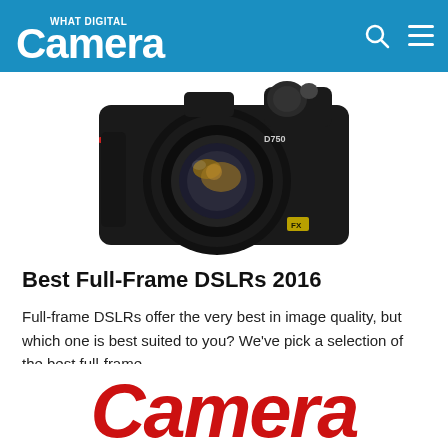What Digital Camera
[Figure (photo): A Nikon D750 DSLR camera with a large lens, viewed from the front, on a white background. The model number D750 is visible on the camera body.]
Best Full-Frame DSLRs 2016
Full-frame DSLRs offer the very best in image quality, but which one is best suited to you? We've pick a selection of the best full-frame...
[Figure (logo): Camera magazine red script logo text reading 'Camera']